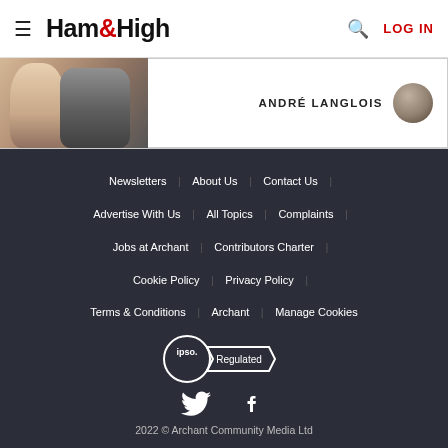Ham&High | LOG IN
[Figure (photo): Partial article image showing two people, with author byline 'ANDRÉ LANGLOIS' and avatar on the right]
Newsletters | About Us | Contact Us | Advertise With Us | All Topics | Complaints | Jobs at Archant | Contributors Charter | Cookie Policy | Privacy Policy | Terms & Conditions | Archant | Manage Cookies
[Figure (logo): IPSO Regulated badge - circle with 'ipso.' text and ribbon shape with 'Regulated' text]
[Figure (other): Twitter and Facebook social media icons]
2022 © Archant Community Media Ltd